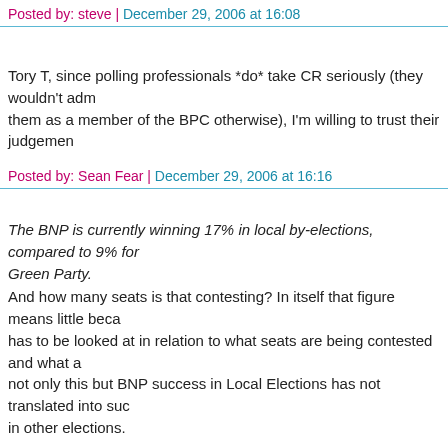Posted by: steve | December 29, 2006 at 16:08
Tory T, since polling professionals *do* take CR seriously (they wouldn't admit them as a member of the BPC otherwise), I'm willing to trust their judgement.
Posted by: Sean Fear | December 29, 2006 at 16:16
The BNP is currently winning 17% in local by-elections, compared to 9% for the Green Party.
And how many seats is that contesting? In itself that figure means little because it has to be looked at in relation to what seats are being contested and what are - not only this but BNP success in Local Elections has not translated into success in other elections.
the legacy for Labour was that the British people no longer trusted them with the economy
Really the Labour Party's reputation for economic competence was destroyed in 1967 with devaluation - Labour started losing masses of councillors and ultimately lost the 1970 General Election, they might have hung on if the election had been a bit later but it was a big fallback from 1966, in 1974 Labour won despite a further fall in their support because the economic competence of t